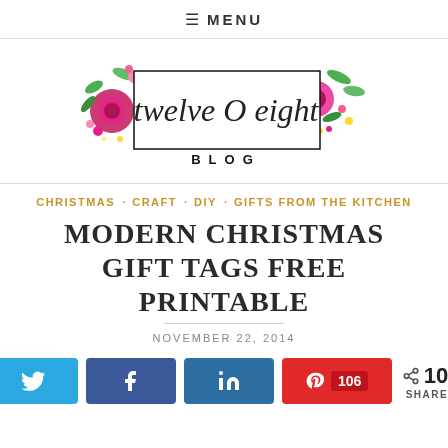≡ MENU
[Figure (logo): Twelve O Eight Blog logo with floral decorations and script text in a rectangle border]
CHRISTMAS · CRAFT · DIY · GIFTS FROM THE KITCHEN
MODERN CHRISTMAS GIFT TAGS FREE PRINTABLE
NOVEMBER 22, 2014
Twitter share button, Facebook share button, LinkedIn share button, Pinterest 106, < 106 SHARES